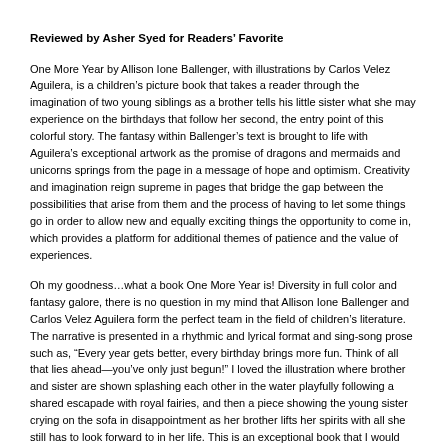Reviewed by Asher Syed for Readers' Favorite
One More Year by Allison Ione Ballenger, with illustrations by Carlos Velez Aguilera, is a children's picture book that takes a reader through the imagination of two young siblings as a brother tells his little sister what she may experience on the birthdays that follow her second, the entry point of this colorful story. The fantasy within Ballenger's text is brought to life with Aguilera's exceptional artwork as the promise of dragons and mermaids and unicorns springs from the page in a message of hope and optimism. Creativity and imagination reign supreme in pages that bridge the gap between the possibilities that arise from them and the process of having to let some things go in order to allow new and equally exciting things the opportunity to come in, which provides a platform for additional themes of patience and the value of experiences.
Oh my goodness...what a book One More Year is! Diversity in full color and fantasy galore, there is no question in my mind that Allison Ione Ballenger and Carlos Velez Aguilera form the perfect team in the field of children's literature. The narrative is presented in a rhythmic and lyrical format and sing-song prose such as, "Every year gets better, every birthday brings more fun. Think of all that lies ahead—you've only just begun!" I loved the illustration where brother and sister are shown splashing each other in the water playfully following a shared escapade with royal fairies, and then a piece showing the young sister crying on the sofa in disappointment as her brother lifts her spirits with all she still has to look forward to in her life. This is an exceptional book that I would give a whole